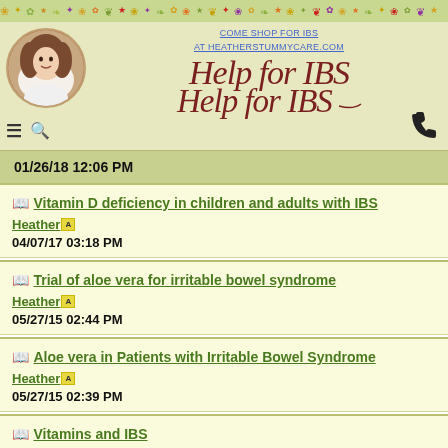COME SHOP FOR IBS AT HEATHERSTUMMYCARE.COM
[Figure (logo): Help for IBS website logo with circular avatar photo of a woman and floral border]
01/26/18 12:06 PM
Vitamin D deficiency in children and adults with IBS — Heather [A] — 04/07/17 03:18 PM
Trial of aloe vera for irritable bowel syndrome — Heather [A] — 05/27/15 02:44 PM
Aloe vera in Patients with Irritable Bowel Syndrome — Heather [A] — 05/27/15 02:39 PM
Vitamins and IBS